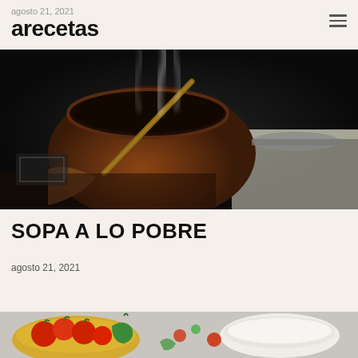agosto 21, 2021
arecetas
[Figure (photo): Dark kitchen scene with a steaming copper/brown pot on a stove, wooden spoon inside, steam rising, moody dark background with another pan visible on the right side]
SOPA A LO POBRE
agosto 21, 2021
[Figure (photo): Top-down view of colorful vegetables including red tomatoes, green peppers in a bowl, and a white bowl/container on a light grey surface]